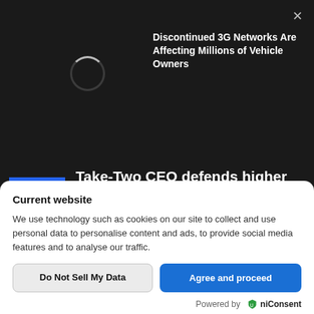×
Discontinued 3G Networks Are Affecting Millions of Vehicle Owners
Take-Two CEO defends higher prices for games for next-gen consoles
Strauss Zelnick, the chief executive of Take-Two, said in an interview
Current website
We use technology such as cookies on our site to collect and use personal data to personalise content and ads, to provide social media features and to analyse our traffic.
Do Not Sell My Data
Agree and proceed
Powered by  🛡niConsent